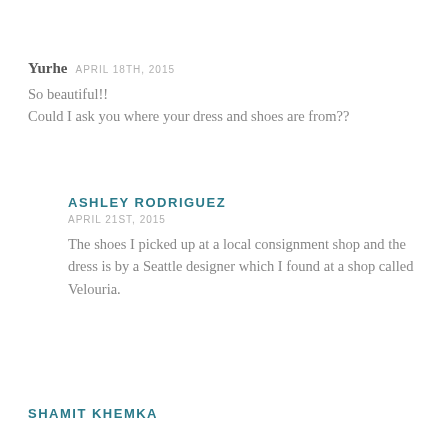Yurhe APRIL 18TH, 2015
So beautiful!! Could I ask you where your dress and shoes are from??
ASHLEY RODRIGUEZ
APRIL 21ST, 2015
The shoes I picked up at a local consignment shop and the dress is by a Seattle designer which I found at a shop called Velouria.
SHAMIT KHEMKA